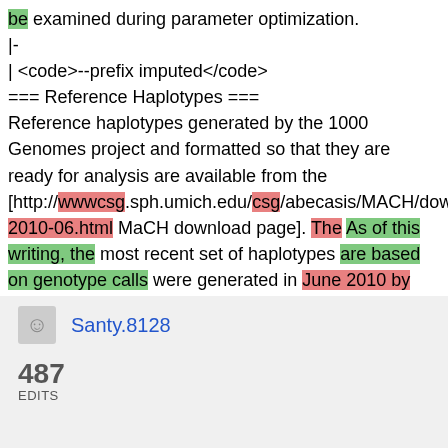be examined during parameter optimization.
|-
| <code>--prefix imputed</code>
=== Reference Haplotypes ===
Reference haplotypes generated by the 1000 Genomes project and formatted so that they are ready for analysis are available from the [http://wwwcsg.sph.umich.edu/csg/abecasis/MACH/download 2010-06.html MaCH download page]. The As of this writing, the most recent set of haplotypes are based on genotype calls were generated in June 2010 by combining genotype calls generated at May 2011 and are an interim analysis of Project's Phase I data. === Imputation quality
Santy.8128
487 EDITS